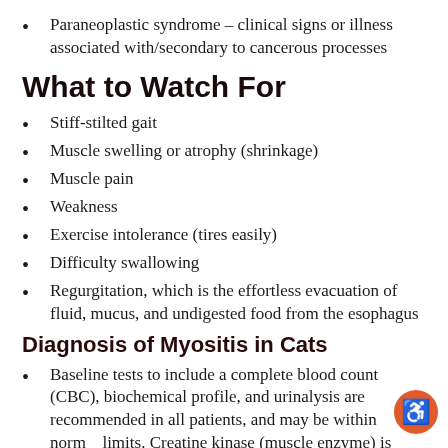Paraneoplastic syndrome – clinical signs or illness associated with/secondary to cancerous processes
What to Watch For
Stiff-stilted gait
Muscle swelling or atrophy (shrinkage)
Muscle pain
Weakness
Exercise intolerance (tires easily)
Difficulty swallowing
Regurgitation, which is the effortless evacuation of fluid, mucus, and undigested food from the esophagus
Diagnosis of Myositis in Cats
Baseline tests to include a complete blood count (CBC), biochemical profile, and urinalysis are recommended in all patients, and may be within normal limits. Creatine kinase (muscle enzyme) is often